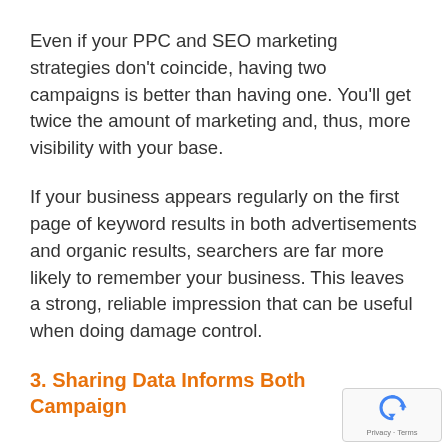Even if your PPC and SEO marketing strategies don't coincide, having two campaigns is better than having one. You'll get twice the amount of marketing and, thus, more visibility with your base.
If your business appears regularly on the first page of keyword results in both advertisements and organic results, searchers are far more likely to remember your business. This leaves a strong, reliable impression that can be useful when doing damage control.
3. Sharing Data Informs Both Campaigns